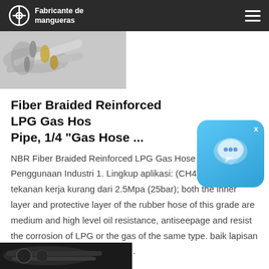Fabricante de mangueras
[Figure (photo): Photo of metal hose fittings and connectors]
Fiber Braided Reinforced LPG Gas Hose Pipe, 1/4 "Gas Hose ...
NBR Fiber Braided Reinforced LPG Gas Hose Untuk Penggunaan Industri 1. Lingkup aplikasi: (CH4) dengan tekanan kerja kurang dari 2.5Mpa (25bar); both the inner layer and protective layer of the rubber hose of this grade are medium and high level oil resistance, antiseepage and resist the corrosion of LPG or the gas of the same type. baik lapisan dalam dan lapisan pelindung ...
[Figure (photo): Partial photo of hose product at bottom of page]